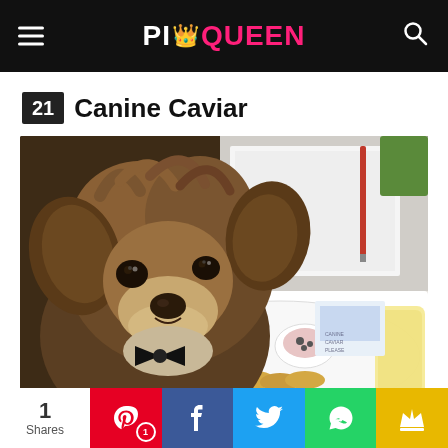PicQueen
21 Canine Caviar
[Figure (photo): A small fluffy dog (Yorkshire Terrier mix) sitting at a table with a caviar service tray including blinis, garnishes, and a drink in front of it. The dog is wearing a black bow tie.]
1 Shares | Pinterest 1 | Facebook | Twitter | WhatsApp | Crown